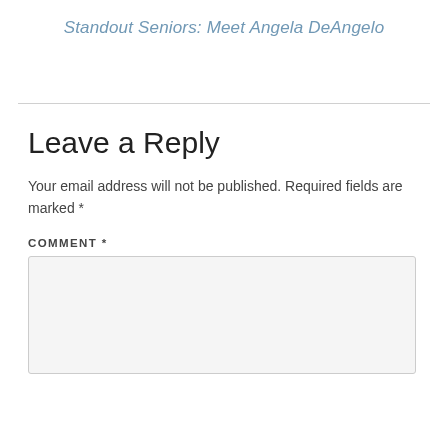Standout Seniors: Meet Angela DeAngelo
Leave a Reply
Your email address will not be published. Required fields are marked *
COMMENT *